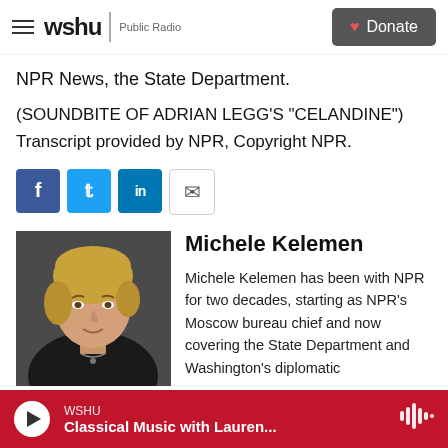wshu Public Radio | Donate
NPR News, the State Department.
(SOUNDBITE OF ADRIAN LEGG'S "CELANDINE")
Transcript provided by NPR, Copyright NPR.
[Figure (screenshot): Social sharing buttons: Facebook, Twitter, LinkedIn, Email]
[Figure (photo): Headshot of Michele Kelemen, a woman with short blonde hair wearing a black jacket]
Michele Kelemen
Michele Kelemen has been with NPR for two decades, starting as NPR's Moscow bureau chief and now covering the State Department and Washington's diplomatic
WSHU Classical Music with Lauren...